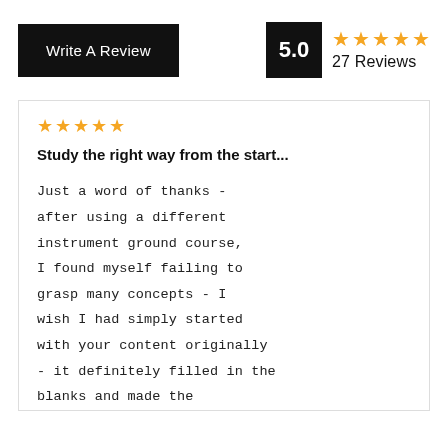Write A Review
5.0
27 Reviews
Study the right way from the start...
Just a word of thanks - after using a different instrument ground course, I found myself failing to grasp many concepts - I wish I had simply started with your content originally - it definitely filled in the blanks and made the